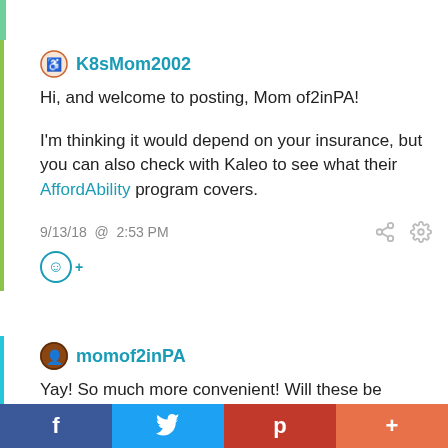K8sMom2002
Hi, and welcome to posting, Mom of2inPA!

I'm thinking it would depend on your insurance, but you can also check with Kaleo to see what their AffordAbility program covers.
9/13/18 @ 2:53 PM
momof2inPA
Yay! So much more convenient! Will these be covered by insurance now that there is a generic epi pen?
f  t  p  +